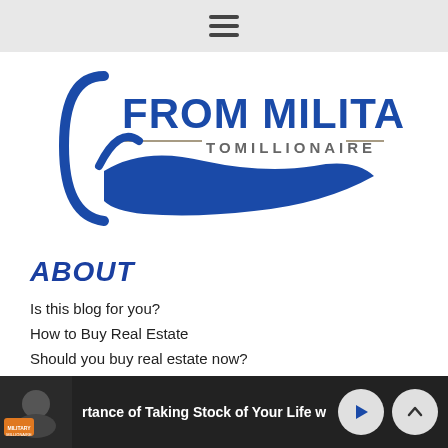Navigation menu (hamburger icon)
[Figure (logo): From Military To Millionaire logo — blue hand/arc graphic with text 'FROM MILITARY' in large blue bold font and 'TOMILLIONAIRE' in smaller gray spaced letters below]
ABOUT
Is this blog for you?
How to Buy Real Estate
Should you buy real estate now?
rtance of Taking Stock of Your Life w — media player bar with play and expand buttons